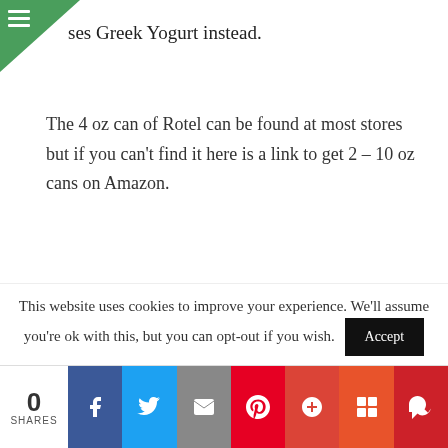ses Greek Yogurt instead.
The 4 oz can of Rotel can be found at most stores but if you can't find it here is a link to get 2 – 10 oz cans on Amazon.
[Figure (photo): A can of Ro*Tel Original Diced Tomatoes & Green Chilies]
This website uses cookies to improve your experience. We'll assume you're ok with this, but you can opt-out if you wish. Accept
0 SHARES | Facebook | Twitter | Email | Pinterest | Google+ | Flipboard | Mix